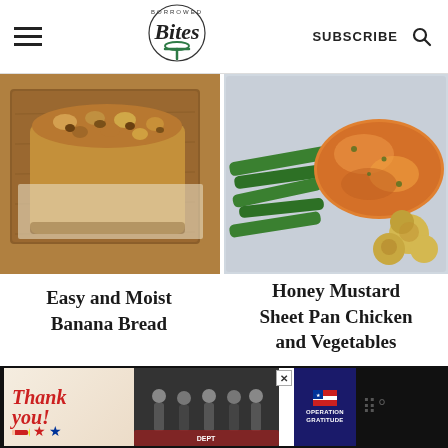Borrowed Bites — SUBSCRIBE
[Figure (photo): Loaf of nutty banana bread on a wooden cutting board, top-down view]
[Figure (photo): Honey mustard glazed chicken with green beans and roasted potatoes on a sheet pan]
Easy and Moist Banana Bread
Honey Mustard Sheet Pan Chicken and Vegetables
[Figure (photo): Advertisement banner: Thank you with firefighters, Operation Gratitude]